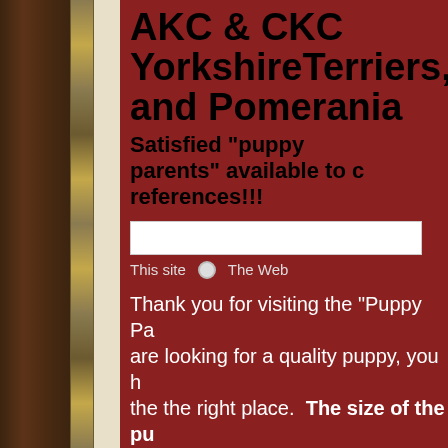AKC & CKC YorkshireTerriers,M and Pomerania
Satisfied "puppy parents" available to c references!!!
[Figure (other): Search bar with This site / The Web radio button options]
Thank you for visiting the "Puppy Pa are looking for a quality puppy, you h the the right place. The size of the pu range from 3 pounds to 8 pounds d on the dam and sire used All the p to your home socialized and ready to The puppies have a written guarantee and references can be provided